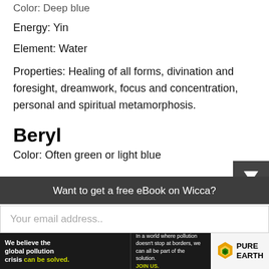Color: Deep blue
Energy: Yin
Element: Water
Properties: Healing of all forms, divination and foresight, dreamwork, focus and concentration, personal and spiritual metamorphosis.
Beryl
Color: Often green or light blue
Want to get a free eBook on Wicca?
Your email address..